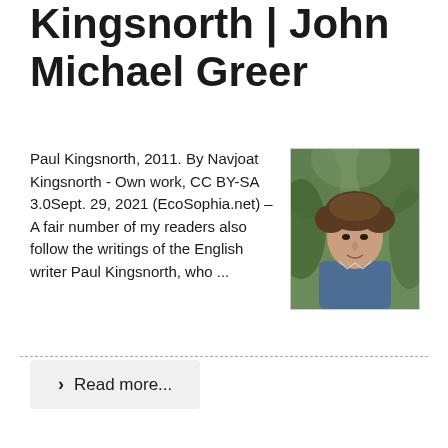Kingsnorth | John Michael Greer
Paul Kingsnorth, 2011. By Navjoat Kingsnorth - Own work, CC BY-SA 3.0Sept. 29, 2021 (EcoSophia.net) – A fair number of my readers also follow the writings of the English writer Paul Kingsnorth, who ...
[Figure (photo): Portrait photo of Paul Kingsnorth, a man with curly brown hair, facing slightly to the side, outdoors with green foliage in background]
❯  Read more...